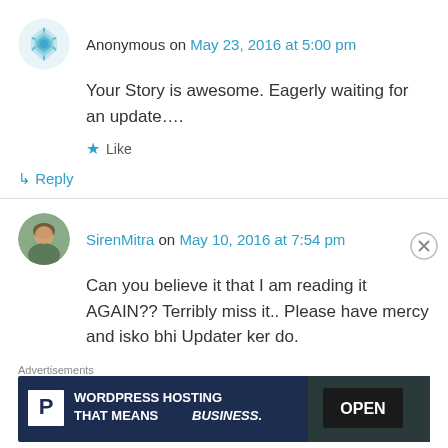Anonymous on May 23, 2016 at 5:00 pm
Your Story is awesome. Eagerly waiting for an update….
Like
↳ Reply
SirenMitra on May 10, 2016 at 7:54 pm
Can you believe it that I am reading it AGAIN?? Terribly miss it.. Please have mercy and isko bhi Updater ker do.
Advertisements
[Figure (screenshot): WordPress Hosting advertisement banner: dark navy background with white P logo box on left, text 'WORDPRESS HOSTING THAT MEANS BUSINESS.' and an OPEN sign photo on right]